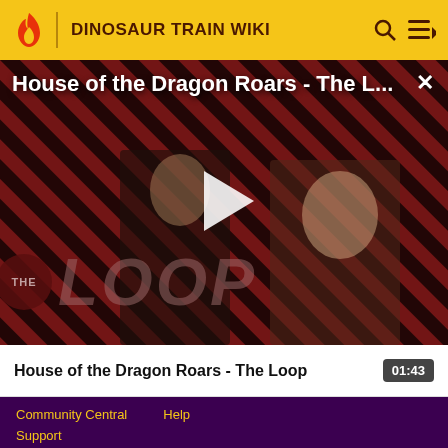DINOSAUR TRAIN WIKI
[Figure (screenshot): Video thumbnail showing two characters from House of the Dragon on a red and black diagonal striped background with 'THE LOOP' overlay text and a white play button triangle in the center]
House of the Dragon Roars - The L...
House of the Dragon Roars - The Loop  01:43
Community Central   Help   Support